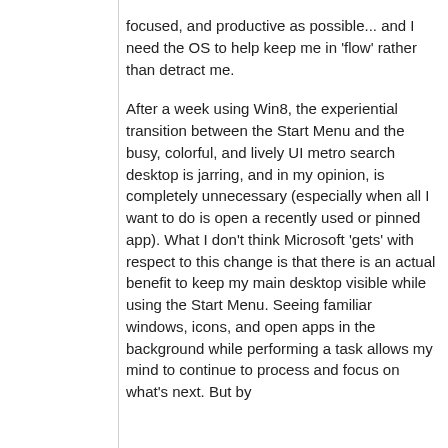focused, and productive as possible... and I need the OS to help keep me in 'flow' rather than detract me.

After a week using Win8, the experiential transition between the Start Menu and the busy, colorful, and lively UI metro search desktop is jarring, and in my opinion, is completely unnecessary (especially when all I want to do is open a recently used or pinned app). What I don't think Microsoft 'gets' with respect to this change is that there is an actual benefit to keep my main desktop visible while using the Start Menu. Seeing familiar windows, icons, and open apps in the background while performing a task allows my mind to continue to process and focus on what's next. But by